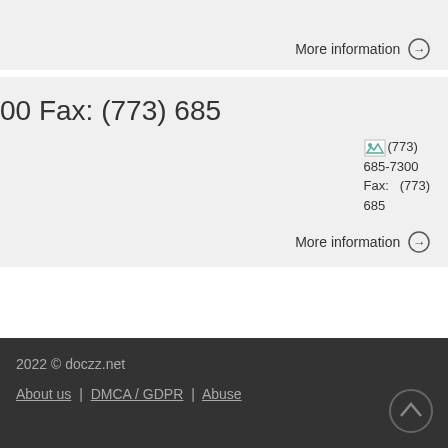More information →
00 Fax: (773) 685
[Figure (other): Broken image placeholder icon followed by text: (773) 685-7300 Fax: (773) 685]
More information →
2022 © doczz.net | About us | DMCA / GDPR | Abuse